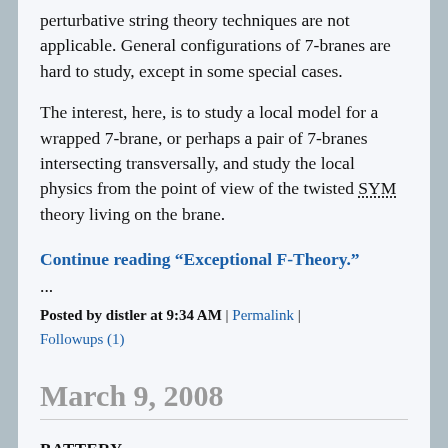perturbative string theory techniques are not applicable. General configurations of 7-branes are hard to study, except in some special cases.
The interest, here, is to study a local model for a wrapped 7-brane, or perhaps a pair of 7-branes intersecting transversally, and study the local physics from the point of view of the twisted SYM theory living on the brane.
Continue reading “Exceptional F-Theory.”
...
Posted by distler at 9:34 AM | Permalink | Followups (1)
March 9, 2008
BATTERY